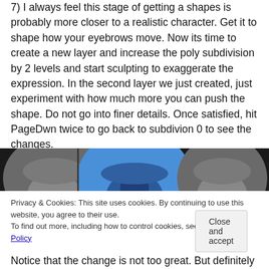7) I always feel this stage of getting a shapes is probably more closer to a realistic character. Get it to shape how your eyebrows move. Now its time to create a new layer and increase the poly subdivision by 2 levels and start sculpting to exaggerate the expression. In the second layer we just created, just experiment with how much more you can push the shape. Do not go into finer details. Once satisfied, hit PageDwn twice to go back to subdivion 0 to see the changes.
[Figure (screenshot): 3D sculpting software screenshot showing three views of a face/nose shape — two grey clay renders on either side and a blue highlighted center view, showing the nose and brow area of a character being sculpted.]
Privacy & Cookies: This site uses cookies. By continuing to use this website, you agree to their use.
To find out more, including how to control cookies, see here: Cookie Policy
Close and accept
Notice that the change is not too great. But definitely more